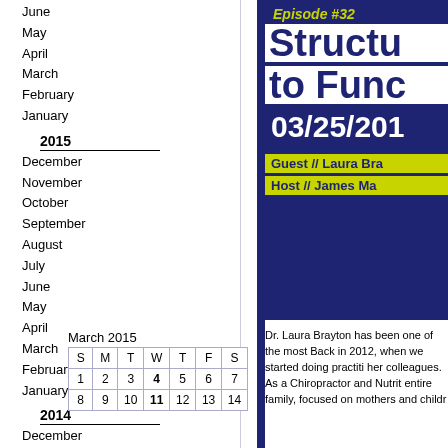June
May
April
March
February
January
2015
December
November
October
September
August
July
June
May
April
March
February
January
2014
December
November
October
September
| S | M | T | W | T | F | S |
| --- | --- | --- | --- | --- | --- | --- |
| 1 | 2 | 3 | 4 | 5 | 6 | 7 |
| 8 | 9 | 10 | 11 | 12 | 13 | 14 |
Episode #32
Structu
to Func
03/25/201
Guest // Laura Bra
Host // James Ma
Dr. Laura Brayton has been one of the most Back in 2012, when we started doing practiti her colleagues. As a Chiropractor and Nutrit entire family, focused on mothers and childr